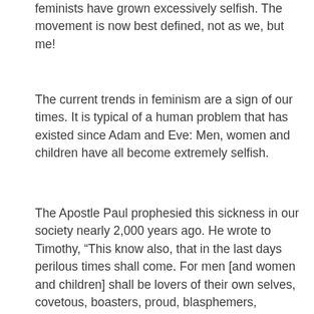feminists have grown excessively selfish. The movement is now best defined, not as we, but me!
The current trends in feminism are a sign of our times. It is typical of a human problem that has existed since Adam and Eve: Men, women and children have all become extremely selfish.
The Apostle Paul prophesied this sickness in our society nearly 2,000 years ago. He wrote to Timothy, “This know also, that in the last days perilous times shall come. For men [and women and children] shall be lovers of their own selves, covetous, boasters, proud, blasphemers, disobedient to parents, unthankful, unholy, without natural affection, trucebreakers, false accusers, incontinent, fierce, despisers of those that are good, traitors, heady, highminded, lovers of pleasures more than lovers of God; Having a form of godliness, but denying the power thereof: from such turn away” (2 Timothy 3:1-5). If we are